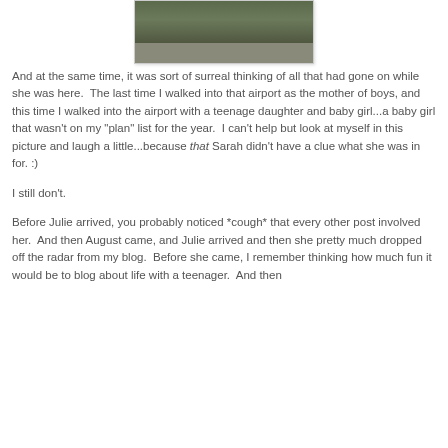[Figure (photo): Partial photo showing the lower portion of children standing, wearing casual clothes and shoes, with a dark bag visible on the right side.]
And at the same time, it was sort of surreal thinking of all that had gone on while she was here.  The last time I walked into that airport as the mother of boys, and this time I walked into the airport with a teenage daughter and baby girl...a baby girl that wasn't on my "plan" list for the year.  I can't help but look at myself in this picture and laugh a little...because that Sarah didn't have a clue what she was in for. :)
I still don't.
Before Julie arrived, you probably noticed *cough* that every other post involved her.  And then August came, and Julie arrived and then she pretty much dropped off the radar from my blog.  Before she came, I remember thinking how much fun it would be to blog about life with a teenager.  And then